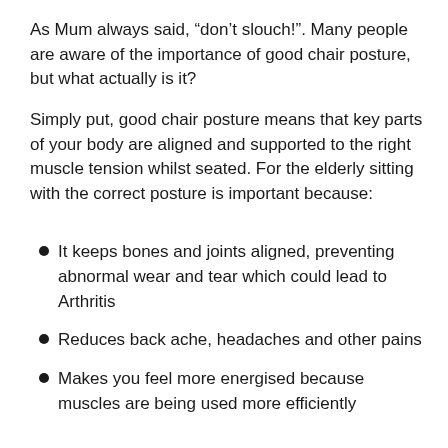As Mum always said, “don’t slouch!”. Many people are aware of the importance of good chair posture, but what actually is it?
Simply put, good chair posture means that key parts of your body are aligned and supported to the right muscle tension whilst seated. For the elderly sitting with the correct posture is important because:
It keeps bones and joints aligned, preventing abnormal wear and tear which could lead to Arthritis
Reduces back ache, headaches and other pains
Makes you feel more energised because muscles are being used more efficiently